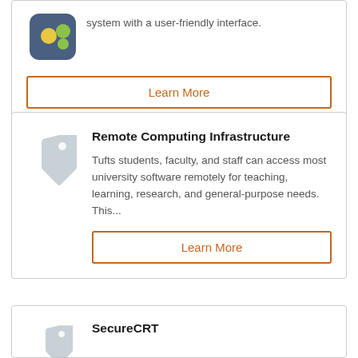system with a user-friendly interface.
Learn More
Remote Computing Infrastructure
Tufts students, faculty, and staff can access most university software remotely for teaching, learning, research, and general-purpose needs. This...
Learn More
SecureCRT